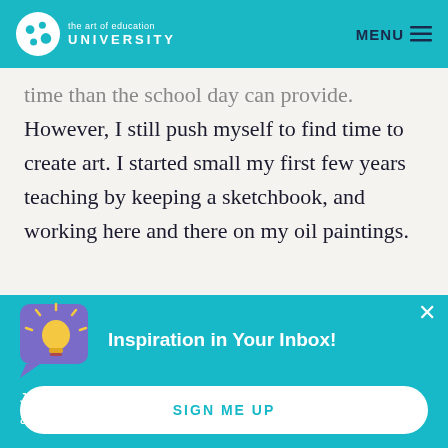the art of education UNIVERSITY | MENU
time than the school day can provide. However, I still push myself to find time to create art. I started small my first few years teaching by keeping a sketchbook, and working here and there on my oil paintings.
Inspiration in Your Inbox!
Join the weekly email newsletter to get the newest articles, tips, advice, and resources for art educators!
SIGN ME UP